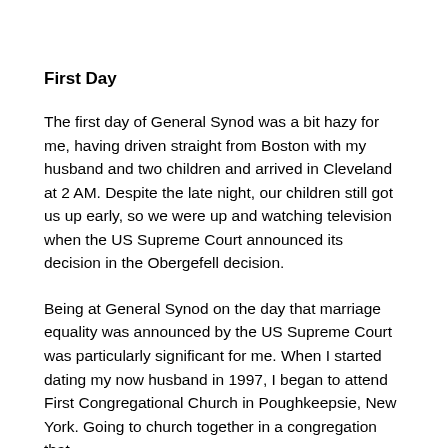First Day
The first day of General Synod was a bit hazy for me, having driven straight from Boston with my husband and two children and arrived in Cleveland at 2 AM. Despite the late night, our children still got us up early, so we were up and watching television when the US Supreme Court announced its decision in the Obergefell decision.
Being at General Synod on the day that marriage equality was announced by the US Supreme Court was particularly significant for me. When I started dating my now husband in 1997, I began to attend First Congregational Church in Poughkeepsie, New York. Going to church together in a congregation that